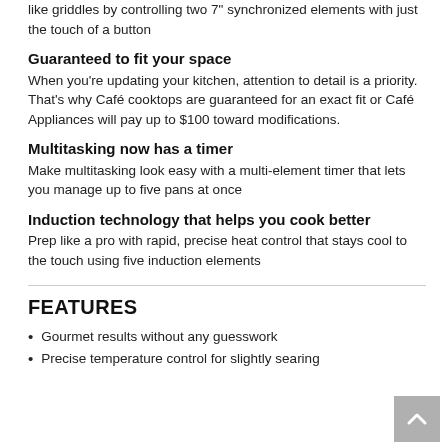like griddles by controlling two 7" synchronized elements with just the touch of a button
Guaranteed to fit your space
When you're updating your kitchen, attention to detail is a priority. That's why Café cooktops are guaranteed for an exact fit or Café Appliances will pay up to $100 toward modifications.
Multitasking now has a timer
Make multitasking look easy with a multi-element timer that lets you manage up to five pans at once
Induction technology that helps you cook better
Prep like a pro with rapid, precise heat control that stays cool to the touch using five induction elements
FEATURES
Gourmet results without any guesswork
Precise temperature control for slightly searing...